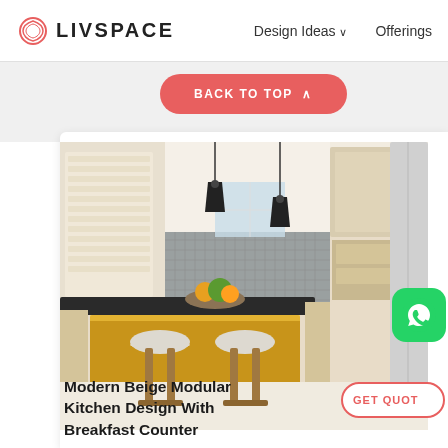LIVSPACE   Design Ideas ∨   Offerings
BACK TO TOP ^
[Figure (photo): Modern beige modular kitchen interior with breakfast counter, two white stools, pendant lights, and organized cabinetry with under-cabinet lighting]
[Figure (logo): WhatsApp green icon button]
Modern Beige Modular Kitchen Design With Breakfast Counter
GET QUOT